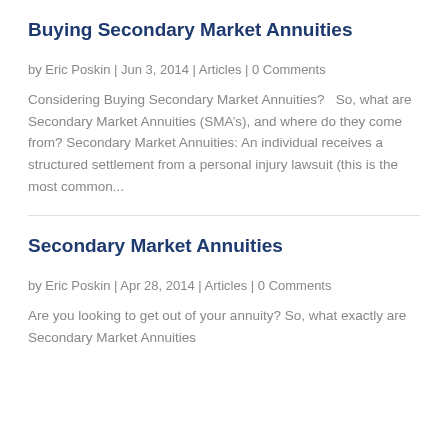Buying Secondary Market Annuities
by Eric Poskin | Jun 3, 2014 | Articles | 0 Comments
Considering Buying Secondary Market Annuities?   So, what are Secondary Market Annuities (SMA’s), and where do they come from? Secondary Market Annuities: An individual receives a structured settlement from a personal injury lawsuit (this is the most common...
Secondary Market Annuities
by Eric Poskin | Apr 28, 2014 | Articles | 0 Comments
Are you looking to get out of your annuity? So, what exactly are Secondary Market Annuities